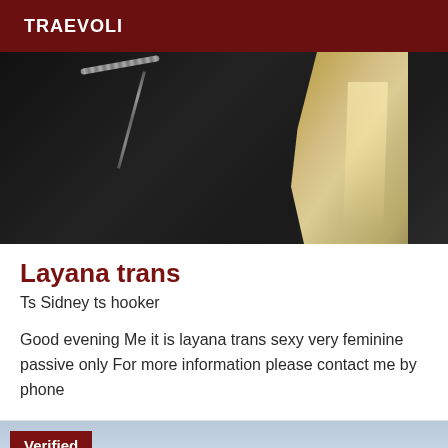TRAEVOLI
[Figure (photo): Close-up photo of a person wearing a dark black jacket with zipper details and long blonde hair visible on the right side]
Layana trans
Ts Sidney ts hooker
Good evening Me it is layana trans sexy very feminine passive only For more information please contact me by phone
[Figure (photo): Partial photo with a light blue/grey sky background and a verified badge overlay in the top left corner]
Verified